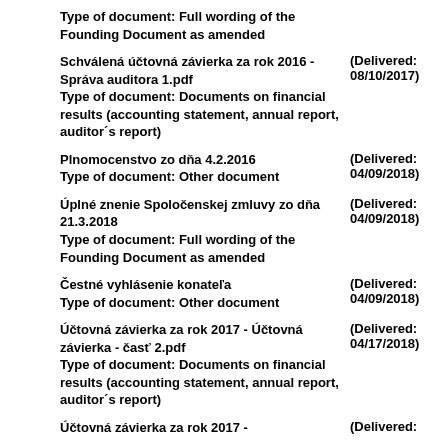Type of document: Full wording of the Founding Document as amended
Schválená účtovná závierka za rok 2016 - Správa auditora 1.pdf (Delivered: 08/10/2017) Type of document: Documents on financial results (accounting statement, annual report, auditor´s report)
Plnomocenstvo zo dňa 4.2.2016 (Delivered: 04/09/2018) Type of document: Other document
Úplné znenie Spoločenskej zmluvy zo dňa 21.3.2018 (Delivered: 04/09/2018) Type of document: Full wording of the Founding Document as amended
Čestné vyhlásenie konateľa (Delivered: 04/09/2018) Type of document: Other document
Účtovná závierka za rok 2017 - Účtovná závierka - časť 2.pdf (Delivered: 04/17/2018) Type of document: Documents on financial results (accounting statement, annual report, auditor´s report)
Účtovná závierka za rok 2017 - (Delivered: